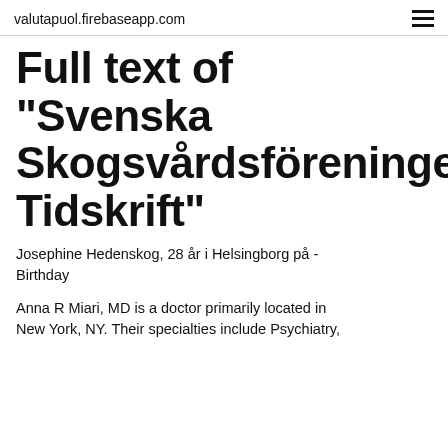valutapuol.firebaseapp.com
Full text of "Svenska Skogsvårdsföreningens Tidskrift"
Josephine Hedenskog, 28 år i Helsingborg på - Birthday
Anna R Miari, MD is a doctor primarily located in New York, NY. Their specialties include Psychiatry,